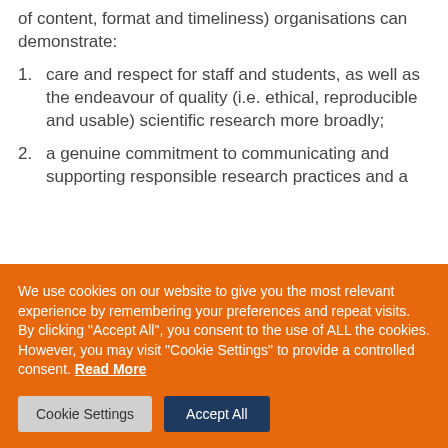of content, format and timeliness) organisations can demonstrate:
care and respect for staff and students, as well as the endeavour of quality (i.e. ethical, reproducible and usable) scientific research more broadly;
a genuine commitment to communicating and supporting responsible research practices and a
We use cookies on our website to give you the most relevant experience by remembering your preferences and repeat visits. By clicking "Accept All", you consent to the use of ALL the cookies. However, you may visit "Cookie Settings" to provide a controlled consent. Read More